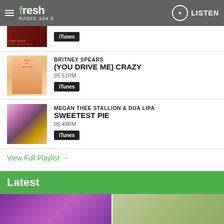Fresh Radio 104.5 — LISTEN
[Figure (screenshot): Album art for Lady Gaga Bad Romance (partially visible, top cropped)]
iTunes
BRITNEY SPEARS
(YOU DRIVE ME) CRAZY
05:51PM
iTunes
[Figure (photo): Album art for Britney Spears (You Drive Me) Crazy]
MEGAN THEE STALLION & DUA LIPA
SWEETEST PIE
05:48PM
iTunes
[Figure (photo): Album art for Megan Thee Stallion & Dua Lipa Sweetest Pie]
View Full Playlist →
Latest
[Figure (photo): Two photos side by side: left shows a woman in purple, right shows a woman outdoors]
Ad Choices